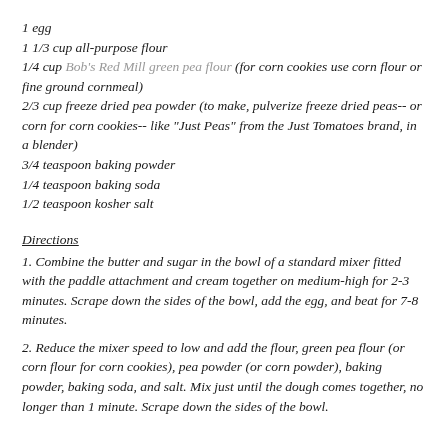1 egg
1 1/3 cup all-purpose flour
1/4 cup Bob's Red Mill green pea flour (for corn cookies use corn flour or fine ground cornmeal)
2/3 cup freeze dried pea powder (to make, pulverize freeze dried peas-- or corn for corn cookies-- like "Just Peas" from the Just Tomatoes brand, in a blender)
3/4 teaspoon baking powder
1/4 teaspoon baking soda
1/2 teaspoon kosher salt
Directions
1. Combine the butter and sugar in the bowl of a standard mixer fitted with the paddle attachment and cream together on medium-high for 2-3 minutes. Scrape down the sides of the bowl, add the egg, and beat for 7-8 minutes.
2. Reduce the mixer speed to low and add the flour, green pea flour (or corn flour for corn cookies), pea powder (or corn powder), baking powder, baking soda, and salt. Mix just until the dough comes together, no longer than 1 minute. Scrape down the sides of the bowl.